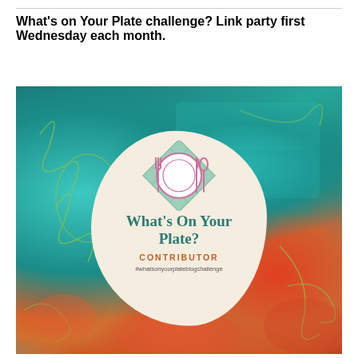What’s on Your Plate challenge? Link party first Wednesday each month.
[Figure (logo): What’s On Your Plate? Contributor badge logo showing a plate with fork, knife and spoon on a checkered diamond placemat, text reading 'What's On Your Plate?' in teal, 'CONTRIBUTOR' in orange, and '#whatsonyourplateblogchallenge' in gray, set against a colorful abstract painted background.]